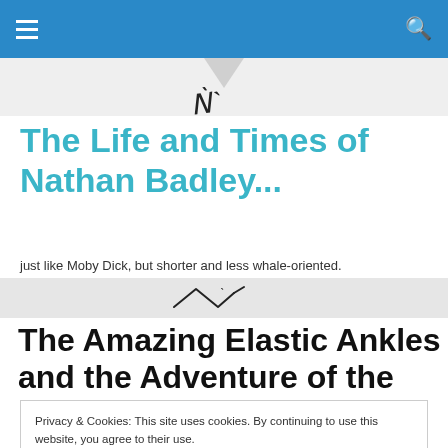Navigation bar with hamburger menu and search icon
[Figure (illustration): Decorative header area with light gray background and a handwritten signature/logo in the center]
The Life and Times of Nathan Badley...
just like Moby Dick, but shorter and less whale-oriented.
[Figure (illustration): Gray separator bar with handwritten signature 'N' in the center]
The Amazing Elastic Ankles and the Adventure of the
Privacy & Cookies: This site uses cookies. By continuing to use this website, you agree to their use.
To find out more, including how to control cookies, see here: Cookie Policy
Close and accept